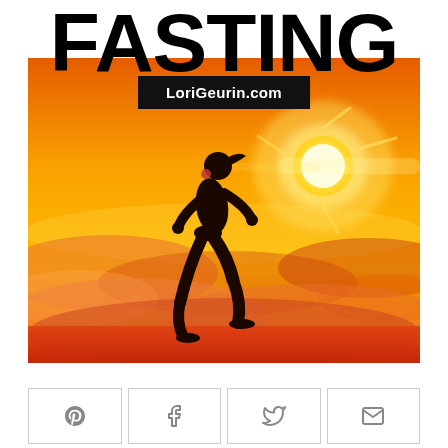FASTING
[Figure (photo): Woman running as a silhouette against a vivid orange and yellow sunset sky above clouds, with a bright sun visible to the right. A black banner overlay reads LoriGeurin.com.]
[Figure (other): Row of four social sharing buttons: Pinterest, Facebook, Twitter, Email]